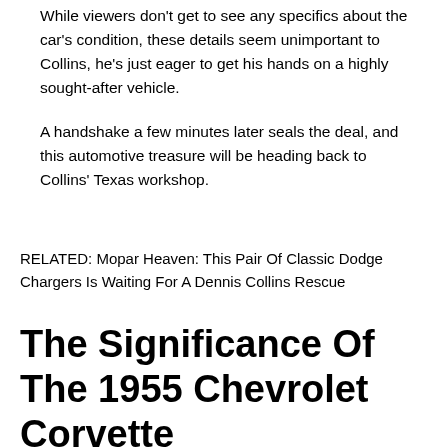While viewers don't get to see any specifics about the car's condition, these details seem unimportant to Collins, he's just eager to get his hands on a highly sought-after vehicle.
A handshake a few minutes later seals the deal, and this automotive treasure will be heading back to Collins' Texas workshop.
RELATED: Mopar Heaven: This Pair Of Classic Dodge Chargers Is Waiting For A Dennis Collins Rescue
The Significance Of The 1955 Chevrolet Corvette